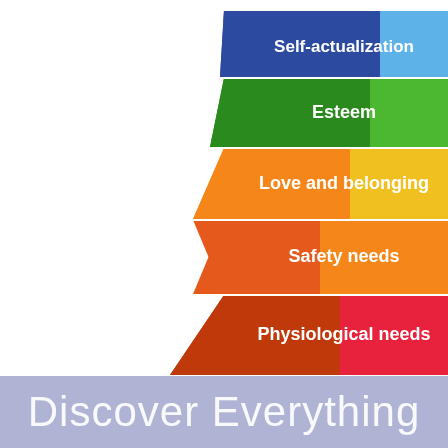[Figure (infographic): Maslow's Hierarchy of Needs pyramid with 5 colored tiers: Self-actualization (blue/light blue), Esteem (green), Love and belonging (orange/yellow), Safety needs (red-orange), Physiological needs (dark red/red). Each tier is wider at the bottom.]
Discover Everything